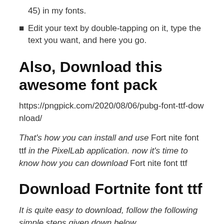45) in my fonts.
Edit your text by double-tapping on it, type the text you want, and here you go.
Also, Download this awesome font pack
https://pngpick.com/2020/08/06/pubg-font-ttf-download/
That's how you can install and use Fort nite font ttf in the PixelLab application. now it's time to know how you can download Fort nite font ttf
Download Fortnite font ttf
It is quite easy to download, follow the following simple steps given down below.